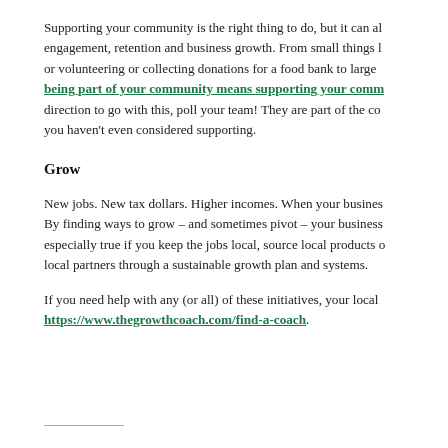Supporting your community is the right thing to do, but it can also drive employee engagement, retention and business growth. From small things like sponsoring a local team or volunteering or collecting donations for a food bank to larger initiatives, being part of your community means supporting your community. direction to go with this, poll your team! They are part of the community too and may point you to organizations you haven't even considered supporting.
Grow
New jobs. New tax dollars. Higher incomes. When your business grows, so does your community. By finding ways to grow – and sometimes pivot – your business can give back to the community. This is especially true if you keep the jobs local, source local products and services, and connect with other local partners through a sustainable growth plan and systems.
If you need help with any (or all) of these initiatives, your local Growth Coach can help. https://www.thegrowthcoach.com/find-a-coach.